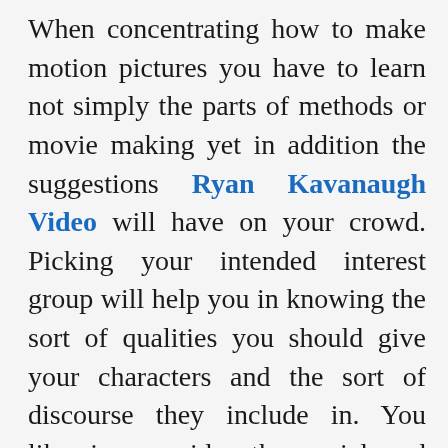When concentrating how to make motion pictures you have to learn not simply the parts of methods or movie making yet in addition the suggestions Ryan Kavanaugh Video will have on your crowd. Picking your intended interest group will help you in knowing the sort of qualities you should give your characters and the sort of discourse they include in. You likewise consider the social and virtues you are depicting in your movie and in the event that it is viable with you target crowd. When considering movie you are relied upon to examine various courses. You are anyway prompted against taking courses that are not in accordance with your advantage. In the event that your are to practice as a content author you will not